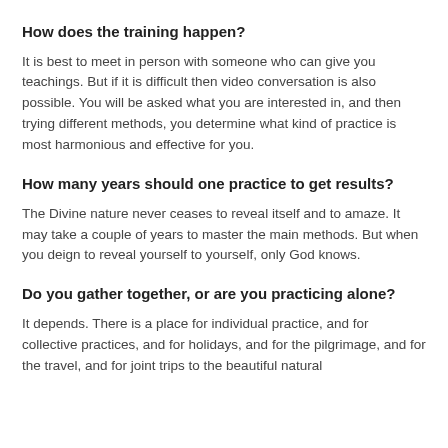How does the training happen?
It is best to meet in person with someone who can give you teachings. But if it is difficult then video conversation is also possible. You will be asked what you are interested in, and then trying different methods, you determine what kind of practice is most harmonious and effective for you.
How many years should one practice to get results?
The Divine nature never ceases to reveal itself and to amaze. It may take a couple of years to master the main methods. But when you deign to reveal yourself to yourself, only God knows.
Do you gather together, or are you practicing alone?
It depends. There is a place for individual practice, and for collective practices, and for holidays, and for the pilgrimage, and for the travel, and for joint trips to the beautiful natural